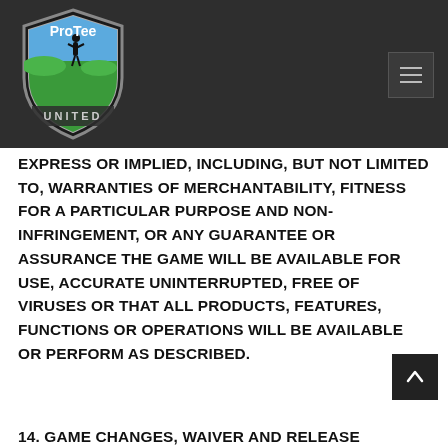[Figure (logo): ProTee United shield logo with golfer silhouette, blue and green colors]
EXPRESS OR IMPLIED, INCLUDING, BUT NOT LIMITED TO, WARRANTIES OF MERCHANTABILITY, FITNESS FOR A PARTICULAR PURPOSE AND NON-INFRINGEMENT, OR ANY GUARANTEE OR ASSURANCE THE GAME WILL BE AVAILABLE FOR USE, ACCURATE UNINTERRUPTED, FREE OF VIRUSES OR THAT ALL PRODUCTS, FEATURES, FUNCTIONS OR OPERATIONS WILL BE AVAILABLE OR PERFORM AS DESCRIBED.
14. GAME CHANGES, WAIVER AND RELEASE